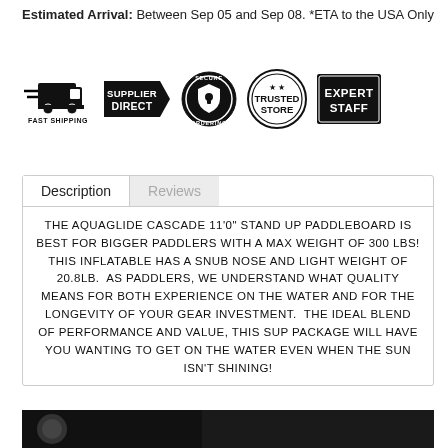Estimated Arrival: Between Sep 05 and Sep 08. *ETA to the USA Only
[Figure (infographic): Five trust/badge icons: Fast Shipping (truck icon), Supplier Direct (arrow badge), Secure Ordering (shield seal), Trusted Store (circular badge with stars), Expert Staff (black rectangle badge)]
Description | Reviews
THE AQUAGLIDE CASCADE 11'0" STAND UP PADDLEBOARD IS BEST FOR BIGGER PADDLERS WITH A MAX WEIGHT OF 300 LBS! THIS INFLATABLE HAS A SNUB NOSE AND LIGHT WEIGHT OF 20.8LB.  AS PADDLERS, WE UNDERSTAND WHAT QUALITY MEANS FOR BOTH EXPERIENCE ON THE WATER AND FOR THE LONGEVITY OF YOUR GEAR INVESTMENT.  THE IDEAL BLEND OF PERFORMANCE AND VALUE, THIS SUP PACKAGE WILL HAVE YOU WANTING TO GET ON THE WATER EVEN WHEN THE SUN ISN'T SHINING!
[Figure (photo): Bottom partial product image, dark/black background, partially cropped]